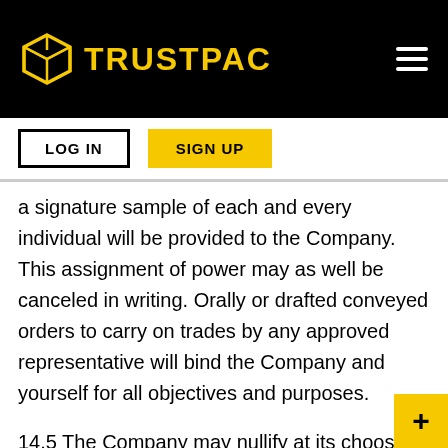TRUSTPAC
a signature sample of each and every individual will be provided to the Company. This assignment of power may as well be canceled in writing. Orally or drafted conveyed orders to carry on trades by any approved representative will bind the Company and yourself for all objectives and purposes.
14.5 The Company may nullify at its choosing trades that were carried out at rates which were 'out-of-market,' no matter if the trades were the outcome of defective market feeds, or